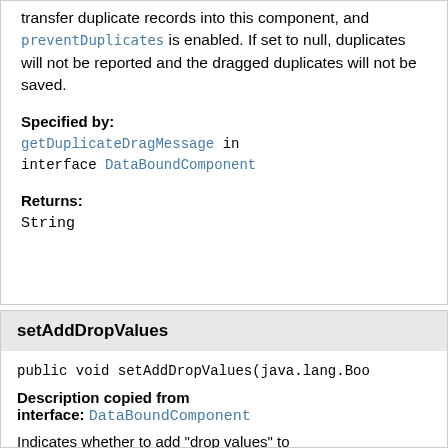transfer duplicate records into this component, and preventDuplicates is enabled. If set to null, duplicates will not be reported and the dragged duplicates will not be saved.
Specified by:
getDuplicateDragMessage in interface DataBoundComponent
Returns:
String
setAddDropValues
public void setAddDropValues(java.lang.Boo
Description copied from interface: DataBoundComponent
Indicates whether to add "drop values" to